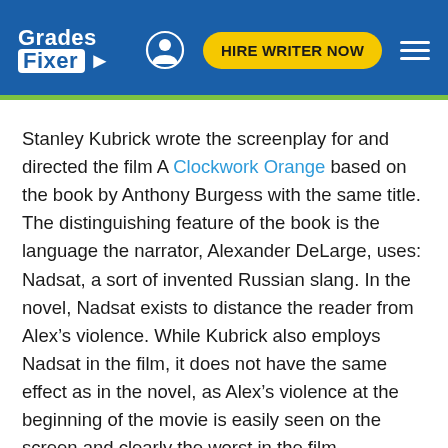Grades Fixer | HIRE WRITER NOW
Stanley Kubrick wrote the screenplay for and directed the film A Clockwork Orange based on the book by Anthony Burgess with the same title. The distinguishing feature of the book is the language the narrator, Alexander DeLarge, uses: Nadsat, a sort of invented Russian slang. In the novel, Nadsat exists to distance the reader from Alex's violence. While Kubrick also employs Nadsat in the film, it does not have the same effect as in the novel, as Alex's violence at the beginning of the movie is easily seen on the screen and clearly the worst in the film (McDougal). However, saying that the scenes at the beginning of Kubrick's film are the most violent, as McDougal points out, is very arbitrary and subjective. That definition of violence fits only into the context of our society's